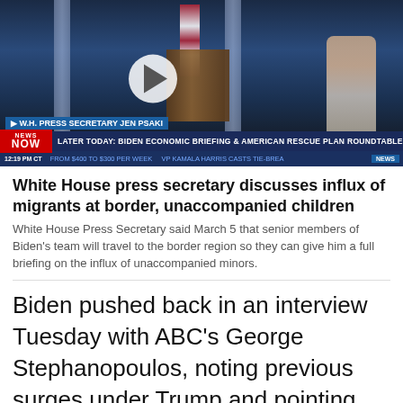[Figure (screenshot): News video thumbnail showing White House press briefing room with Jen Psaki at podium. Lower-third chyrons: 'W.H. PRESS SECRETARY JEN PSAKI', 'NEWS NOW' logo, ticker text 'LATER TODAY: BIDEN ECONOMIC BRIEFING & AMERICAN RESCUE PLAN ROUNDTABLE', '12:19 PM CT', 'FROM $400 TO $300 PER WEEK', 'VP KAMALA HARRIS CASTS TIE-BREA', 'NEWS']
White House press secretary discusses influx of migrants at border, unaccompanied children
White House Press Secretary said March 5 that senior members of Biden's team will travel to the border region so they can give him a full briefing on the influx of unaccompanied minors.
Biden pushed back in an interview Tuesday with ABC's George Stephanopoulos, noting previous surges under Trump and pointing out that his administration has been trying to discourage people from crossing while it works to restore an asylum system undermined by his predecessor. "I heard the other day that they're